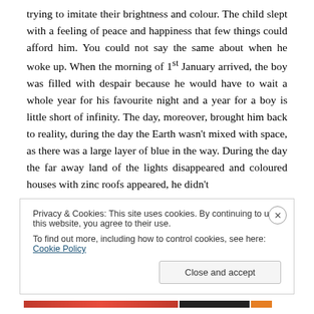trying to imitate their brightness and colour. The child slept with a feeling of peace and happiness that few things could afford him. You could not say the same about when he woke up. When the morning of 1st January arrived, the boy was filled with despair because he would have to wait a whole year for his favourite night and a year for a boy is little short of infinity. The day, moreover, brought him back to reality, during the day the Earth wasn't mixed with space, as there was a large layer of blue in the way. During the day the far away land of the lights disappeared and coloured houses with zinc roofs appeared, he didn't
Privacy & Cookies: This site uses cookies. By continuing to use this website, you agree to their use.
To find out more, including how to control cookies, see here: Cookie Policy
Close and accept